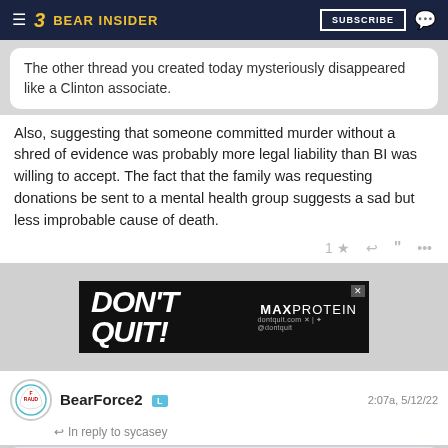Bear Insider — SUBSCRIBE
The other thread you created today mysteriously disappeared like a Clinton associate.
Also, suggesting that someone committed murder without a shred of evidence was probably more legal liability than BI was willing to accept. The fact that the family was requesting donations be sent to a mental health group suggests a sad but less improbable cause of death.
[Figure (other): DON'T QUIT! MAX PROTEIN advertisement banner]
BearForce2 L — 2:07a, 5/12/22
In reply to sycasey
sycasey said: There is no reason to believe Trump could get China or any other foreign government to do anything.